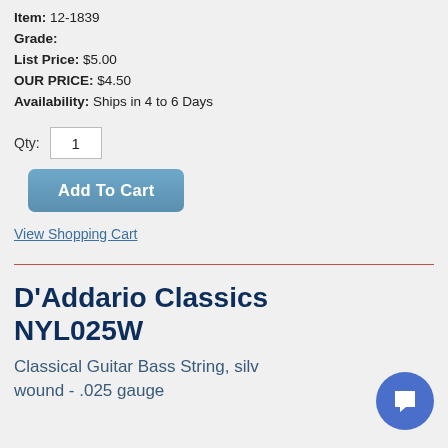Item: 12-1839
Grade:
List Price: $5.00
OUR PRICE: $4.50
Availability: Ships in 4 to 6 Days
Qty: 1
Add To Cart
View Shopping Cart
D'Addario Classics NYL025W
Classical Guitar Bass String, silver wound - .025 gauge